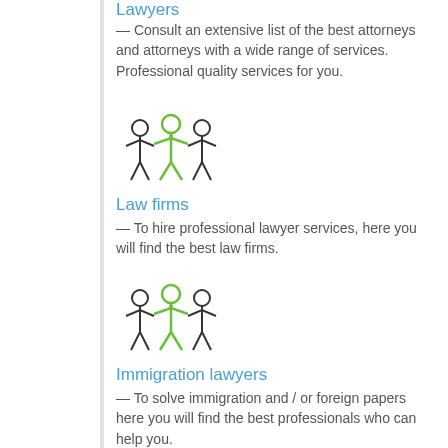Lawyers
— Consult an extensive list of the best attorneys and attorneys with a wide range of services. Professional quality services for you.
[Figure (illustration): Icon of three people in a group, outlined in dark with a green highlighted center figure, representing a law firm or group of lawyers]
Law firms
— To hire professional lawyer services, here you will find the best law firms.
[Figure (illustration): Icon of three people in a group, outlined in dark with a green highlighted center figure, representing immigration lawyers]
Immigration lawyers
— To solve immigration and / or foreign papers here you will find the best professionals who can help you.